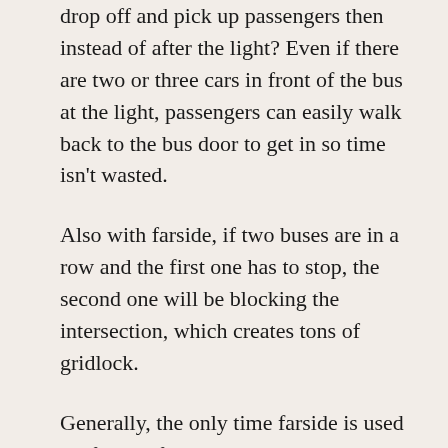drop off and pick up passengers then instead of after the light? Even if there are two or three cars in front of the bus at the light, passengers can easily walk back to the bus door to get in so time isn't wasted.
Also with farside, if two buses are in a row and the first one has to stop, the second one will be blocking the intersection, which creates tons of gridlock.
Generally, the only time farside is used is after a left